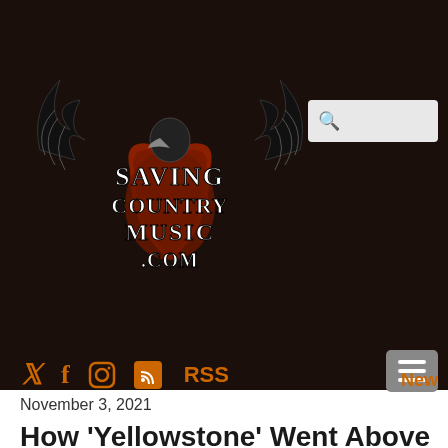[Figure (logo): Saving Country Music .com logo with winged eagle/heart design in black, red and brown tones]
[Figure (screenshot): Search input box with magnifying glass icon on dark background]
[Figure (infographic): Social media icons: Twitter bird, Facebook f, Instagram circle, RSS feed orange box, RSS text label, hamburger menu button, and 'New' label in orange]
November 3, 2021
How 'Yellowstone' Went Above &